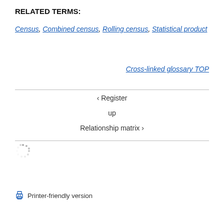RELATED TERMS:
Census, Combined census, Rolling census, Statistical product
Cross-linked glossary TOP
‹ Register
up
Relationship matrix ›
[Figure (other): Loading spinner icon (dotted circle)]
Printer-friendly version